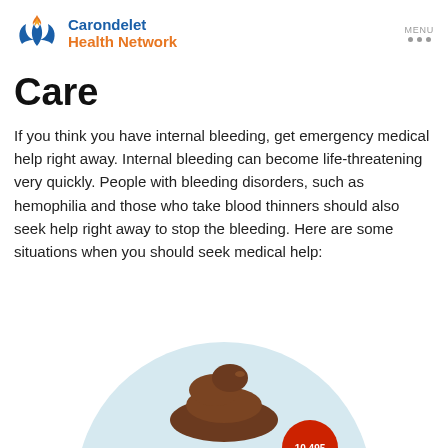Carondelet Health Network — MENU
Care
If you think you have internal bleeding, get emergency medical help right away. Internal bleeding can become life-threatening very quickly. People with bleeding disorders, such as hemophilia and those who take blood thinners should also seek help right away to stop the bleeding. Here are some situations when you should seek medical help:
[Figure (illustration): Partial illustration showing a circular light-blue background with a brown stool/feces graphic and a red badge partially visible at the bottom of the page.]